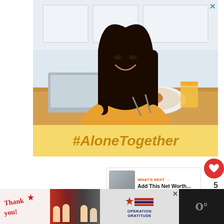[Figure (photo): Promotional social media image showing a young Asian woman in a yellow top smiling and eating at a kitchen table with a laptop and orange juice, with a yellow banner below reading #AloneTogether. There is a red heart button with count 5 and a share button on the right side.]
What are the projected expenses?
[Figure (photo): WHAT'S NEXT → thumbnail: Add This Net Worth... showing a thumbnail image of text/screen]
[Figure (photo): Advertisement banner: Thank you! with US flag star decoration and firefighters photo, Operation Gratitude logo on dark background]